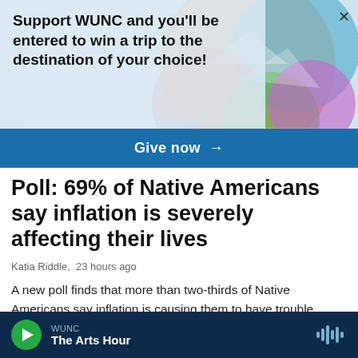Support WUNC and you'll be entered to win a trip to the destination of your choice!
Give now →
Poll: 69% of Native Americans say inflation is severely affecting their lives
Katia Riddle,  23 hours ago
A new poll finds that more than two-thirds of Native Americans say inflation is causing them to have trouble making ends meet. Higher food and gas prices compound their already precarious situation.
WUNC  The Arts Hour